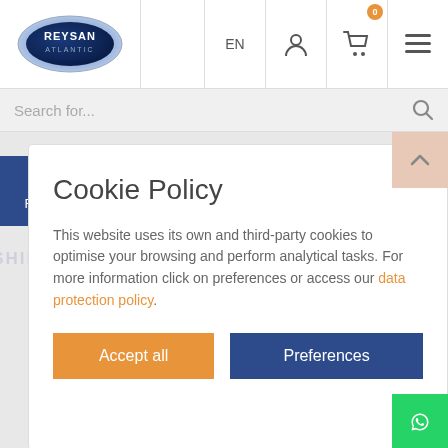[Figure (logo): Reysan Atlantic logo — oval dark blue badge with silver chrome ring]
EN
[Figure (illustration): User/account icon]
[Figure (illustration): Shopping cart icon with orange badge showing 0]
[Figure (illustration): Hamburger menu icon]
Search for...
Filter
FISHING KNIVES, FILLETING AND BONING KNIVES
Cookie Policy
This website uses its own and third-party cookies to optimise your browsing and perform analytical tasks. For more information click on preferences or access our data protection policy.
Accept all
Preferences